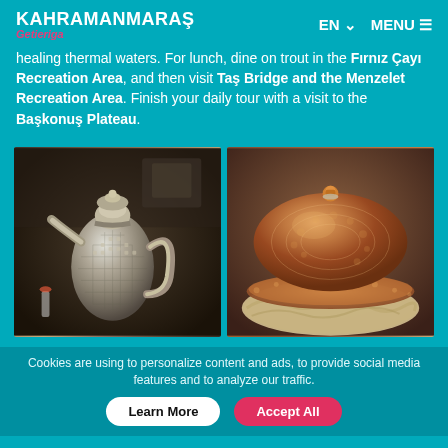KAHRAMANMARAŞ Getierige | EN | MENU
healing thermal waters. For lunch, dine on trout in the Fırnız Çayı Recreation Area, and then visit Taş Bridge and the Menzelet Recreation Area. Finish your daily tour with a visit to the Başkonuş Plateau.
[Figure (photo): Silver metallic ornate pitcher/teapot with textured diamond pattern body on dark background with antiques]
[Figure (photo): Copper/bronze decorative domed lid dish with hammered texture, sitting on flatbread/dough]
Cookies are using to personalize content and ads, to provide social media features and to analyze our traffic.
Learn More | Accept All